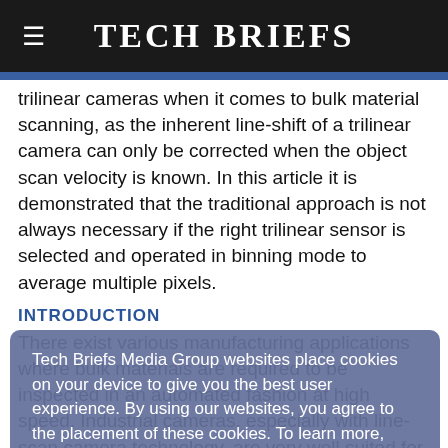Tech Briefs
trilinear cameras when it comes to bulk material scanning, as the inherent line-shift of a trilinear camera can only be corrected when the object scan velocity is known. In this article it is demonstrated that the traditional approach is not always necessary if the right trilinear sensor is selected and operated in binning mode to average multiple pixels.
INTRODUCTION
There exist various manufacturing applications where bulk materials are required to be inspected in an automated fashion at high speed. Industrial cameras, especially with line-scan camera technology, are very well suited for the typical high velocity at which the bulk material moves. In the simplest case, a line-scan camera consists of a single linear line of sensor cells. A two-dimensional image similar to an image from an area sensor is
Tech Briefs Media Group websites place cookies on your device to give you the best user experience. By using our websites, you agree to the placement of these cookies. To learn more, read our Privacy Policy.
Accept & Continue